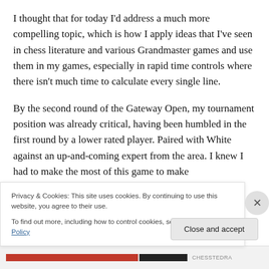I thought that for today I'd address a much more compelling topic, which is how I apply ideas that I've seen in chess literature and various Grandmaster games and use them in my games, especially in rapid time controls where there isn't much time to calculate every single line.
By the second round of the Gateway Open, my tournament position was already critical, having been humbled in the first round by a lower rated player. Paired with White against an up-and-coming expert from the area. I knew I had to make the most of this game to make
Privacy & Cookies: This site uses cookies. By continuing to use this website, you agree to their use.
To find out more, including how to control cookies, see here: Cookie Policy